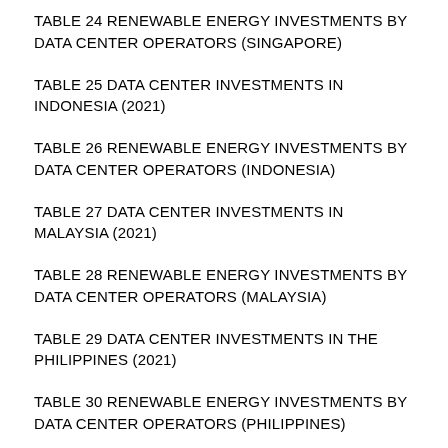TABLE 24 RENEWABLE ENERGY INVESTMENTS BY DATA CENTER OPERATORS (SINGAPORE)
TABLE 25 DATA CENTER INVESTMENTS IN INDONESIA (2021)
TABLE 26 RENEWABLE ENERGY INVESTMENTS BY DATA CENTER OPERATORS (INDONESIA)
TABLE 27 DATA CENTER INVESTMENTS IN MALAYSIA (2021)
TABLE 28 RENEWABLE ENERGY INVESTMENTS BY DATA CENTER OPERATORS (MALAYSIA)
TABLE 29 DATA CENTER INVESTMENTS IN THE PHILIPPINES (2021)
TABLE 30 RENEWABLE ENERGY INVESTMENTS BY DATA CENTER OPERATORS (PHILIPPINES)
TABLE 31 DATA CENTER INVESTMENTS IN THAILAND (…)
TABLE 32 DATA CENTER INVESTMENTS IN VIETNAM (2021)